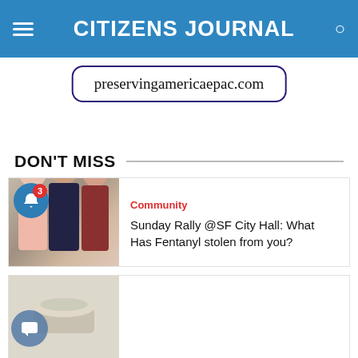CITIZENS JOURNAL
[Figure (other): Advertisement box with URL: preservingamericaepac.com, shown in serif font with dark blue border and rounded corners]
DON'T MISS
[Figure (photo): Photo of three women standing together, one in a dark dress (center), one in a light pink top (left), one in a dark red dress (right). A notification bell icon with badge '3' is overlaid on the top-left corner of the image.]
Community
Sunday Rally @SF City Hall: What Has Fentanyl stolen from you?
[Figure (photo): Partial photo of an object (partially visible at bottom of page)]